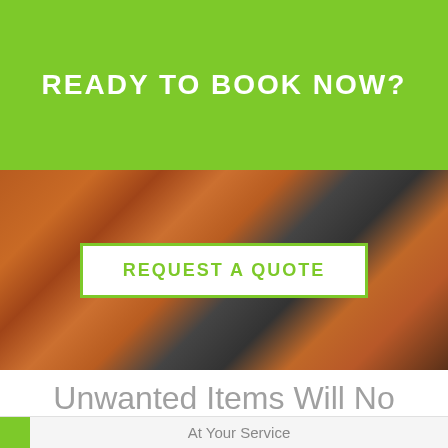READY TO BOOK NOW?
[Figure (photo): Bags of rubbish/garbage piled on a pavement with a 'REQUEST A QUOTE' button overlay]
Unwanted Items Will No Longer Be a Problem
All the clutter in your home will be a memory once we are done. The rubbish removal services we at Rubbish Removals provide in London will take care of it and soon you will be walking in a junk free home. You can trust us to do the job you wish us to do.
At Your Service